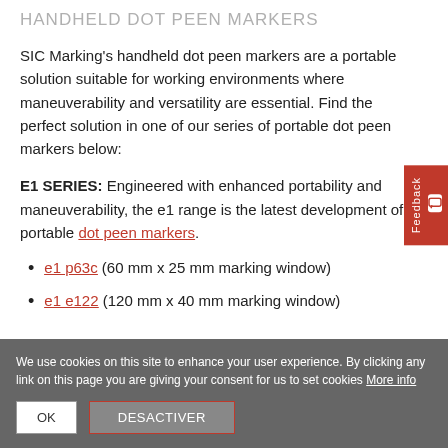HANDHELD DOT PEEN MARKERS
SIC Marking's handheld dot peen markers are a portable solution suitable for working environments where maneuverability and versatility are essential. Find the perfect solution in one of our series of portable dot peen markers below:
E1 SERIES: Engineered with enhanced portability and maneuverability, the e1 range is the latest development of portable dot peen markers.
e1 p63c (60 mm x 25 mm marking window)
e1 e122 (120 mm x 40 mm marking window)
We use cookies on this site to enhance your user experience. By clicking any link on this page you are giving your consent for us to set cookies More info